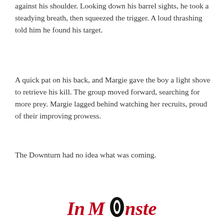against his shoulder. Looking down his barrel sights, he took a steadying breath, then squeezed the trigger. A loud thrashing told him he found his target.
A quick pat on his back, and Margie gave the boy a light shove to retrieve his kill. The group moved forward, searching for more prey. Margie lagged behind watching her recruits, proud of their improving prowess.
The Downturn had no idea what was coming.
[Figure (logo): InMonster logo: stylized text with a black oval/eye icon in the center replacing the letter O in Monster]